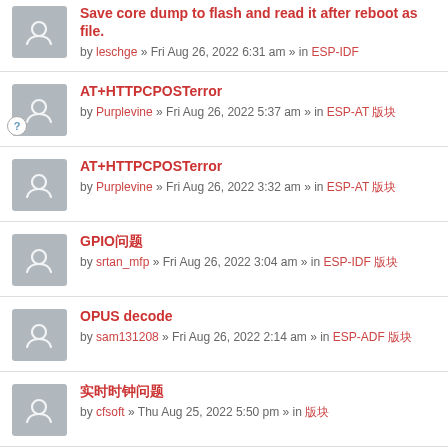Save core dump to flash and read it after reboot as file. by leschge » Fri Aug 26, 2022 6:31 am » in ESP-IDF
AT+HTTPCPOSTerror by Purplevine » Fri Aug 26, 2022 5:37 am » in ESP-AT
AT+HTTPCPOSTerror by Purplevine » Fri Aug 26, 2022 3:32 am » in ESP-AT
GPIO by srtan_mfp » Fri Aug 26, 2022 3:04 am » in ESP-IDF
OPUS decode by sam131208 » Fri Aug 26, 2022 2:14 am » in ESP-ADF
by cfsoft » Thu Aug 25, 2022 5:50 pm » in